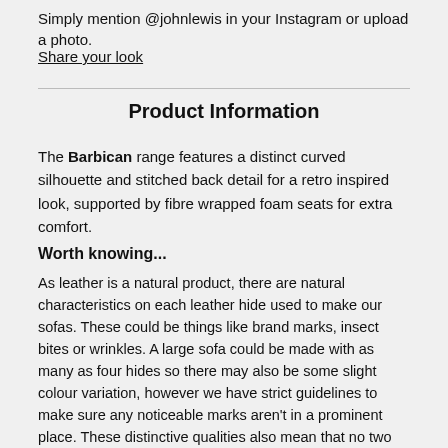Simply mention @johnlewis in your Instagram or upload a photo.
Share your look
Product Information
The Barbican range features a distinct curved silhouette and stitched back detail for a retro inspired look, supported by fibre wrapped foam seats for extra comfort.
Worth knowing...
As leather is a natural product, there are natural characteristics on each leather hide used to make our sofas. These could be things like brand marks, insect bites or wrinkles. A large sofa could be made with as many as four hides so there may also be some slight colour variation, however we have strict guidelines to make sure any noticeable marks aren't in a prominent place. These distinctive qualities also mean that no two pieces of leather furniture will be exactly the same.